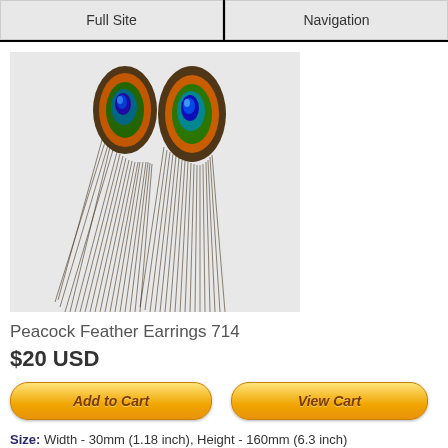Full Site | Navigation
[Figure (photo): Two peacock feather earrings displayed side by side, showing colorful eye patterns at top with dark feather strands below]
Peacock Feather Earrings 714
$20 USD
[Figure (other): Add to Cart button]
[Figure (other): View Cart button]
Size: Width - 30mm (1.18 inch), Height - 160mm (6.3 inch)
Price: $20 USD (United States Dollars)
$20 USD – €10.99 EUR – £16.90 GBP – $25.98 CAD –